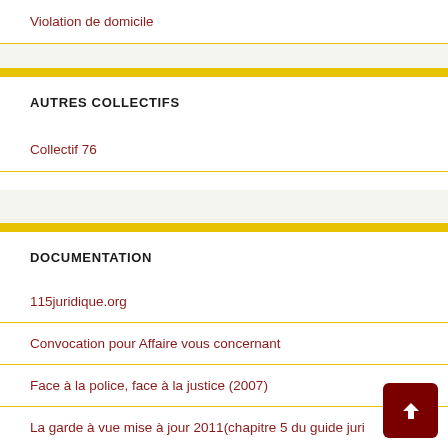Violation de domicile
AUTRES COLLECTIFS
Collectif 76
DOCUMENTATION
115juridique.org
Convocation pour Affaire vous concernant
Face à la police, face à la justice (2007)
La garde à vue mise à jour 2011(chapitre 5 du guide juri…
Le droit à l'image concernant les forces de l'ordre